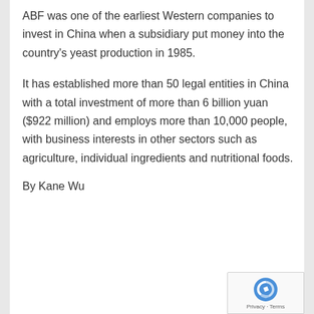ABF was one of the earliest Western companies to invest in China when a subsidiary put money into the country's yeast production in 1985.
It has established more than 50 legal entities in China with a total investment of more than 6 billion yuan ($922 million) and employs more than 10,000 people, with business interests in other sectors such as agriculture, individual ingredients and nutritional foods.
By Kane Wu